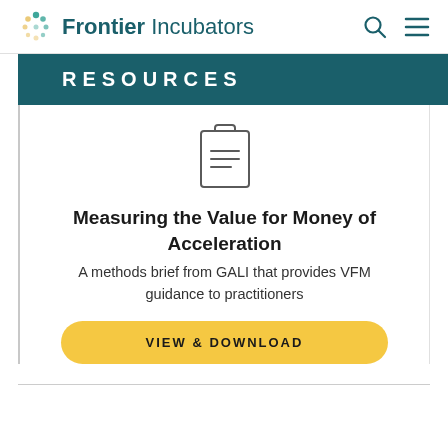Frontier Incubators
RESOURCES
[Figure (illustration): Clipboard icon with horizontal lines representing a document]
Measuring the Value for Money of Acceleration
A methods brief from GALI that provides VFM guidance to practitioners
VIEW & DOWNLOAD